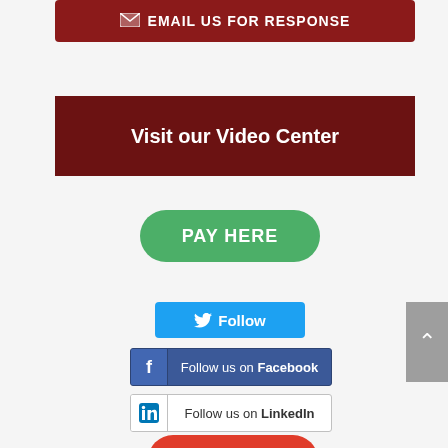[Figure (screenshot): Dark red button with envelope icon and text EMAIL US FOR RESPONSE]
[Figure (screenshot): Dark red banner with text Visit our Video Center]
[Figure (screenshot): Green rounded button with text PAY HERE]
[Figure (screenshot): Blue Twitter Follow button]
[Figure (screenshot): Blue Facebook Follow us on Facebook button]
[Figure (screenshot): White LinkedIn Follow us on LinkedIn button]
[Figure (screenshot): Red rounded button with text REVIEW US]
[Figure (screenshot): Gray scroll-to-top button with up arrow on right edge]